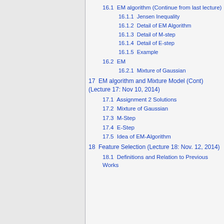16.1  EM algorithm (Continue from last lecture)
16.1.1  Jensen Inequality
16.1.2  Detail of EM Algorithm
16.1.3  Detail of M-step
16.1.4  Detail of E-step
16.1.5  Example
16.2  EM
16.2.1  Mixture of Gaussian
17  EM algorithm and Mixture Model (Cont) (Lecture 17: Nov 10, 2014)
17.1  Assignment 2 Solutions
17.2  Mixture of Gaussian
17.3  M-Step
17.4  E-Step
17.5  Idea of EM-Algorithm
18  Feature Selection (Lecture 18: Nov. 12, 2014)
18.1  Definitions and Relation to Previous Works